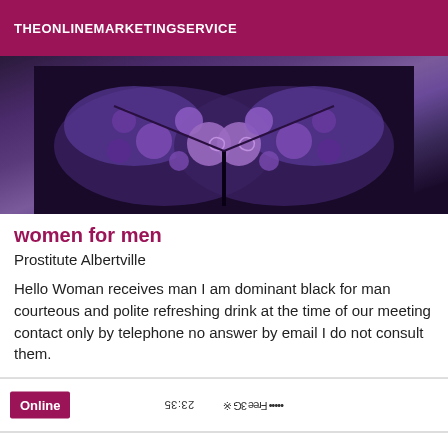THEONLINEMARKETINGSERVICE
[Figure (photo): Close-up photo of decorative purple/violet fabric with floral and butterfly patterns on dark background]
women for men
Prostitute Albertville
Hello Woman receives man I am dominant black for man courteous and polite refreshing drink at the time of our meeting contact only by telephone no answer by email I do not consult them.
[Figure (screenshot): Upside-down mobile phone status bar and navigation bar showing Online badge, Free 3G signal, time 23:35, with Photo navigation and refresh/forward arrows]
[Figure (photo): Partial photo visible at bottom showing green and dark tones, likely a person's image cropped]